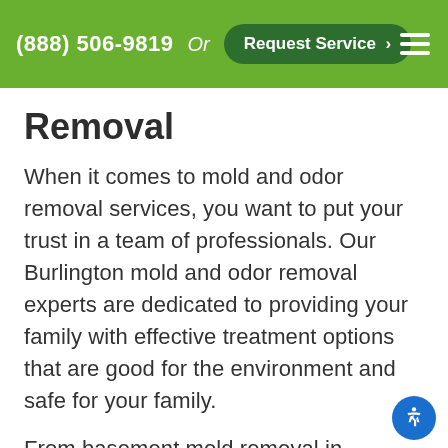(888) 506-9819  Or  Request Service >
Removal
When it comes to mold and odor removal services, you want to put your trust in a team of professionals. Our Burlington mold and odor removal experts are dedicated to providing your family with effective treatment options that are good for the environment and safe for your family.
From basement mold removal in Burlington to cleaning and pet odor